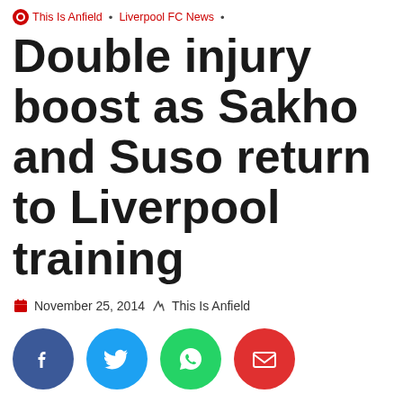This Is Anfield · Liverpool FC News ·
Double injury boost as Sakho and Suso return to Liverpool training
November 25, 2014  This Is Anfield
[Figure (infographic): Social share buttons: Facebook, Twitter, WhatsApp, Email]